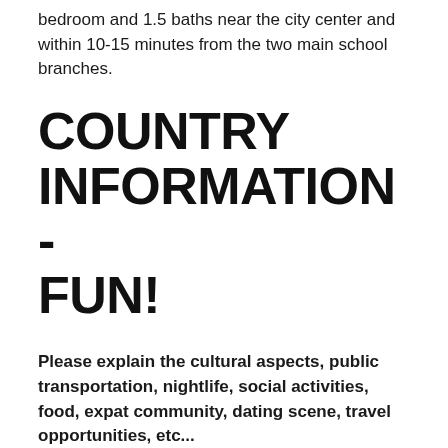bedroom and 1.5 baths near the city center and within 10-15 minutes from the two main school branches.
COUNTRY INFORMATION - FUN!
Please explain the cultural aspects, public transportation, nightlife, social activities, food, expat community, dating scene, travel opportunities, etc...